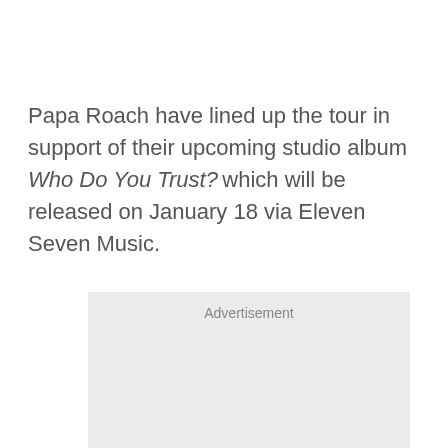Papa Roach have lined up the tour in support of their upcoming studio album Who Do You Trust? which will be released on January 18 via Eleven Seven Music.
[Figure (other): Advertisement placeholder box with light grey background and 'Advertisement' label at top center]